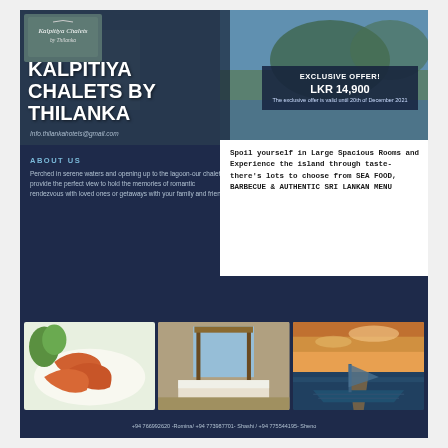[Figure (photo): Logo of Kalpitiya Chalets by Thilanka in top-left corner]
KALPITIYA CHALETS BY THILANKA
Info.thilankahotels@gmail.com
EXCLUSIVE OFFER! LKR 14,900 The exclusive offer is valid until 20th of December 2021
ABOUT US
Perched in serene waters and opening up to the lagoon-our chalets provide the perfect view to hold the memories of romantic rendezvous with loved ones or getaways with your family and friends.
Spoil yourself in Large Spacious Rooms and Experience the island through taste- there's lots to choose from SEA FOOD, BARBECUE & AUTHENTIC SRI LANKAN MENU
[Figure (photo): Grilled shrimp/prawns on a plate]
[Figure (photo): Large spacious room interior with canopy bed]
[Figure (photo): Sunset view with a boat on water]
+94 766992620 -Romina/ +94 773987701- Shashi / +94 775544195- Sheno